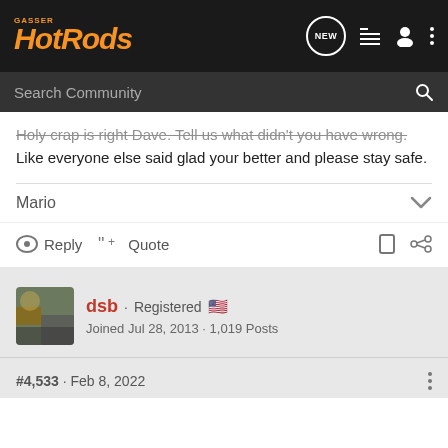Gasser HotRods — Navigation bar with Search Community
Holy crap is right Dave. Tell us what didn't you have wrong. Like everyone else said glad your better and please stay safe.
Mario
Reply  Quote
dsb · Registered
Joined Jul 28, 2013 · 1,019 Posts
#4,533 · Feb 8, 2022